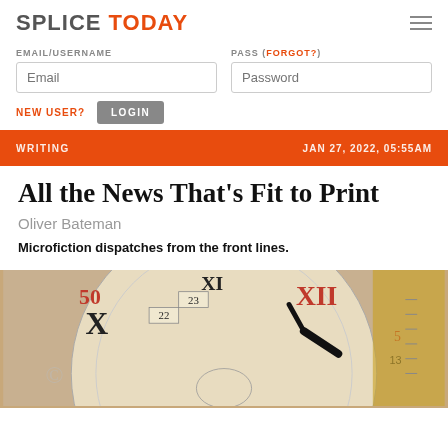SPLICE TODAY
EMAIL/USERNAME
PASS (FORGOT?)
NEW USER?
LOGIN
WRITING
JAN 27, 2022, 05:55AM
All the News That’s Fit to Print
Oliver Bateman
Microfiction dispatches from the front lines.
[Figure (photo): Close-up photograph of ornate clock faces showing Roman and Arabic numerals, with black clock hands against a cream/ivory background]